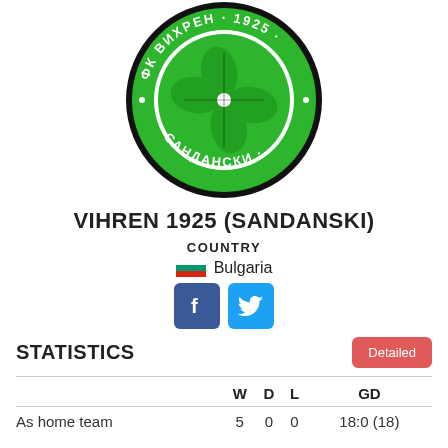[Figure (logo): FK Vihren 1925 Sandanski club crest — circular green badge with a four-leaf clover in the center, surrounded by Cyrillic text reading ФК ВИХРЕН 1925 at the top and САНДАНСКИ at the bottom, on a black border]
VIHREN 1925 (SANDANSKI)
COUNTRY
Bulgaria
STATISTICS
|  | W | D | L | GD |
| --- | --- | --- | --- | --- |
| As home team | 5 | 0 | 0 | 18:0 (18) |